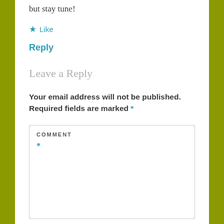but stay tune!
★ Like
Reply
Leave a Reply
Your email address will not be published. Required fields are marked *
COMMENT
*